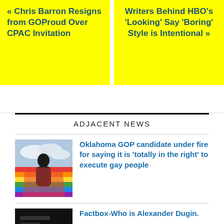« Chris Barron Resigns from GOProud Over CPAC Invitation
Writers Behind HBO's 'Looking' Say 'Boring' Style is Intentional »
ADJACENT NEWS
[Figure (photo): Person wrapped in rainbow pride flag, viewed from behind against a cloudy sky]
Oklahoma GOP candidate under fire for saying it is 'totally in the right' to execute gay people
[Figure (photo): Dark/black image thumbnail]
Factbox-Who is Alexander Dugin.